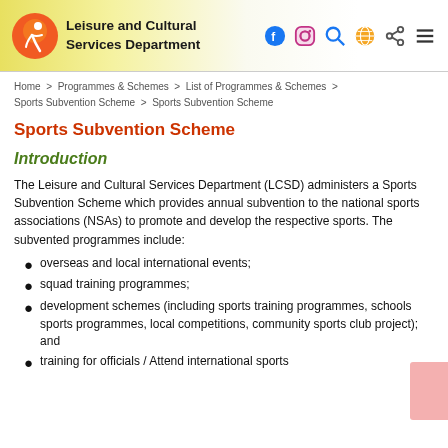Leisure and Cultural Services Department
Home > Programmes & Schemes > List of Programmes & Schemes > Sports Subvention Scheme > Sports Subvention Scheme
Sports Subvention Scheme
Introduction
The Leisure and Cultural Services Department (LCSD) administers a Sports Subvention Scheme which provides annual subvention to the national sports associations (NSAs) to promote and develop the respective sports. The subvented programmes include:
overseas and local international events;
squad training programmes;
development schemes (including sports training programmes, schools sports programmes, local competitions, community sports club project); and
training for officials / Attend international sports